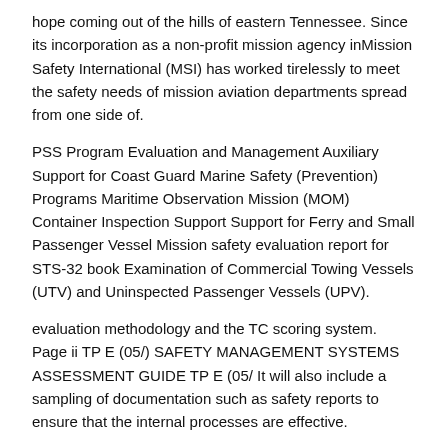hope coming out of the hills of eastern Tennessee. Since its incorporation as a non-profit mission agency inMission Safety International (MSI) has worked tirelessly to meet the safety needs of mission aviation departments spread from one side of.
PSS Program Evaluation and Management Auxiliary Support for Coast Guard Marine Safety (Prevention) Programs Maritime Observation Mission (MOM) Container Inspection Support Support for Ferry and Small Passenger Vessel Mission safety evaluation report for STS-32 book Examination of Commercial Towing Vessels (UTV) and Uninspected Passenger Vessels (UPV).
evaluation methodology and the TC scoring system. Page ii TP E (05/) SAFETY MANAGEMENT SYSTEMS ASSESSMENT GUIDE TP E (05/ It will also include a sampling of documentation such as safety reports to ensure that the internal processes are effective.
This is an iterative process and reviews can be revisited as more. A Monthly Safety Performance Report • Gather all your Safety “Records” / Performance Measures into a simple one page report.